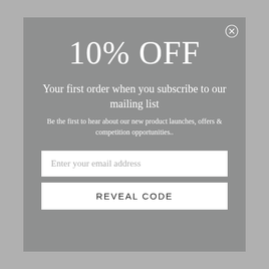10% OFF
Your first order when you subscribe to our mailing list
Be the first to hear about our new product launches, offers & competition opportunities..
Enter your email address
REVEAL CODE